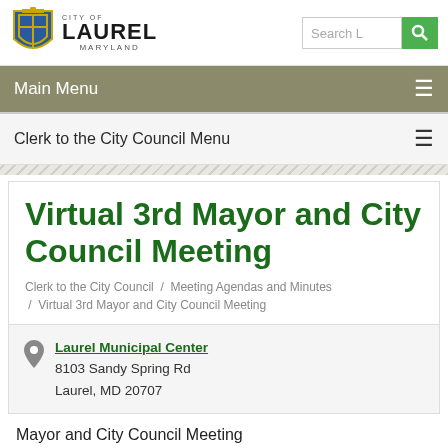CITY OF LAUREL MARYLAND
Main Menu
Clerk to the City Council Menu
Virtual 3rd Mayor and City Council Meeting
Clerk to the City Council / Meeting Agendas and Minutes / Virtual 3rd Mayor and City Council Meeting
Laurel Municipal Center
8103 Sandy Spring Rd
Laurel, MD 20707
Mayor and City Council Meeting
Monday, January 10, 2022 - 6:00pm to 8:00pm